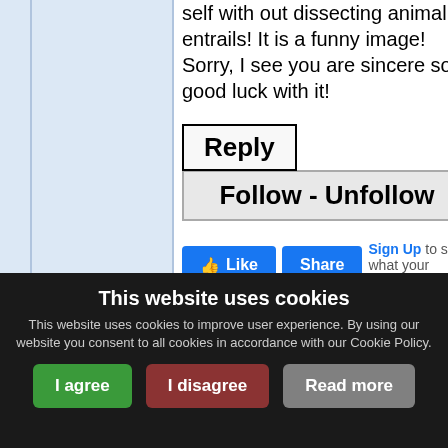self with out dissecting animal entrails! It is a funny image! Sorry, I see you are sincere so good luck with it!
Reply
Follow - Unfollow
Like  Share  Sign Up to see what your friends like.
This website uses cookies
This website uses cookies to improve user experience. By using our website you consent to all cookies in accordance with our Cookie Policy.
I agree  I disagree  Read more